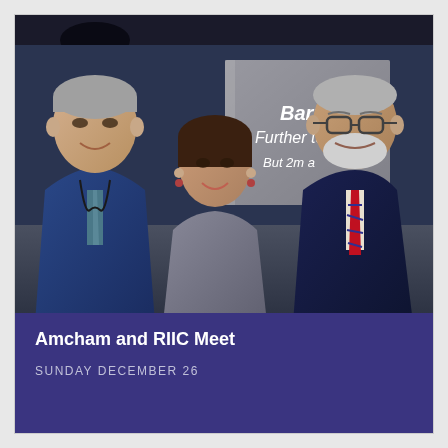[Figure (photo): Three people posing together smiling in front of a banner sign that reads 'Barnea Further to... But 2m a...'. Left person is a tall man in a blue suit with a teal tie and lanyard. Center is a woman in a gray/tweed blazer. Right is an older man with glasses, white beard, wearing a dark suit with a red striped tie. Background shows an indoor venue.]
Amcham and RIIC Meet
SUNDAY DECEMBER 26